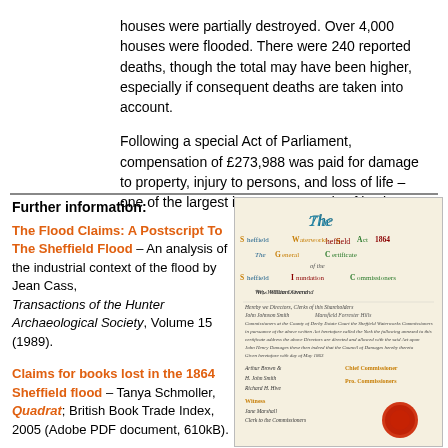houses were partially destroyed. Over 4,000 houses were flooded. There were 240 reported deaths, though the total may have been higher, especially if consequent deaths are taken into account.
Following a special Act of Parliament, compensation of £273,988 was paid for damage to property, injury to persons, and loss of life – one of the largest insurance awards of its time.
Further information:
The Flood Claims: A Postscript To The Sheffield Flood – An analysis of the industrial context of the flood by Jean Cass, Transactions of the Hunter Archaeological Society, Volume 15 (1989).
Claims for books lost in the 1864 Sheffield flood – Tanya Schmoller, Quadrat; British Book Trade Index, 2005 (Adobe PDF document, 610kB).
[Figure (photo): Illuminated certificate: Sheffield Waterworks Act 1864, The General Certificate of the Sheffield Inundation Commissioners, featuring decorative coloured lettering, handwritten text, signatures, and a red wax seal.]